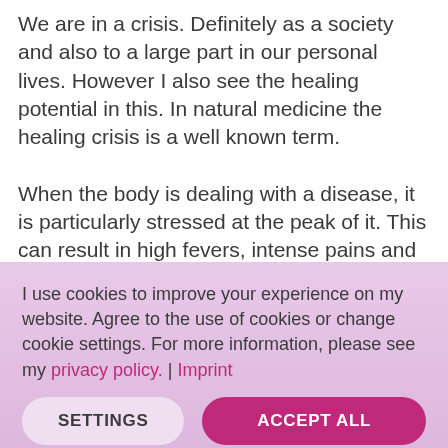We are in a crisis. Definitely as a society and also to a large part in our personal lives. However I also see the healing potential in this. In natural medicine the healing crisis is a well known term.
When the body is dealing with a disease, it is particularly stressed at the peak of it. This can result in high fevers, intense pains and
I use cookies to improve your experience on my website. Agree to the use of cookies or change cookie settings. For more information, please see my privacy policy. | Imprint